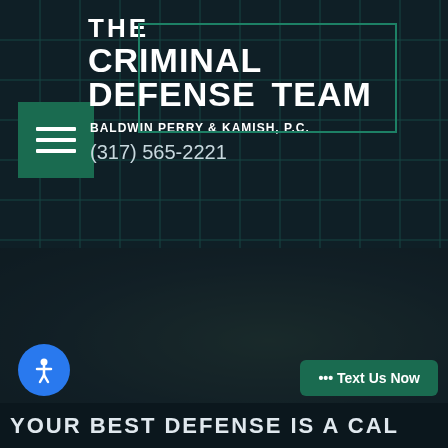[Figure (logo): The Criminal Defense Team logo with teal border box and firm name Baldwin Perry & Kamish, P.C.]
THE CRIMINAL DEFENSE TEAM
BALDWIN PERRY & KAMISH, P.C.
(317) 565-2221
[Figure (photo): Dark blurred background photo of what appears to be a legal/criminal scene]
••• Text Us Now
YOUR BEST DEFENSE IS A CALL